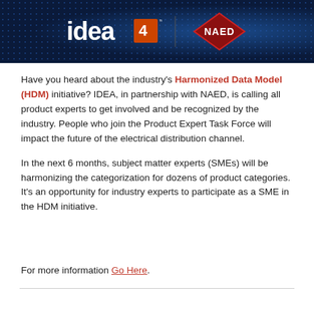[Figure (logo): Banner with IDEA and NAED logos on a dark blue dotted background]
Have you heard about the industry's Harmonized Data Model (HDM) initiative? IDEA, in partnership with NAED, is calling all product experts to get involved and be recognized by the industry. People who join the Product Expert Task Force will impact the future of the electrical distribution channel.
In the next 6 months, subject matter experts (SMEs) will be harmonizing the categorization for dozens of product categories. It's an opportunity for industry experts to participate as a SME in the HDM initiative.
For more information Go Here.